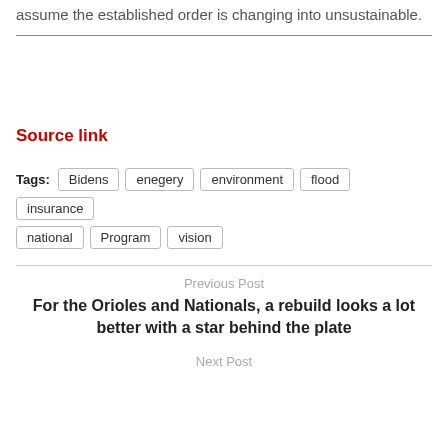assume the established order is changing into unsustainable.
Source link
Tags: Bidens enegery environment flood insurance national Program vision
Previous Post
For the Orioles and Nationals, a rebuild looks a lot better with a star behind the plate
Next Post